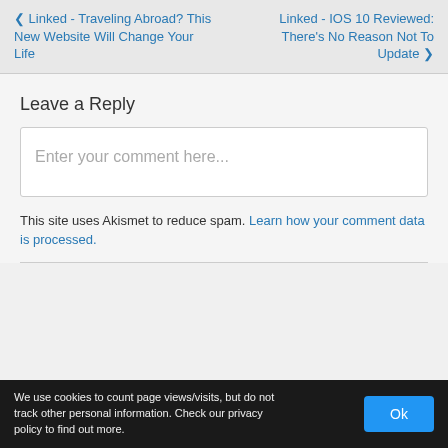❮ Linked - Traveling Abroad? This New Website Will Change Your Life
Linked - IOS 10 Reviewed: There's No Reason Not To Update ❯
Leave a Reply
Enter your comment here...
This site uses Akismet to reduce spam. Learn how your comment data is processed.
We use cookies to count page views/visits, but do not track other personal information. Check our privacy policy to find out more.